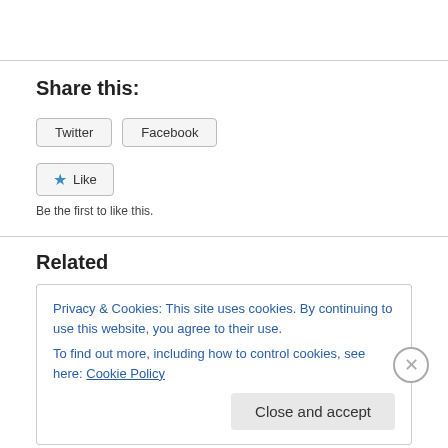Share this:
Twitter  Facebook
★ Like
Be the first to like this.
Related
Privacy & Cookies: This site uses cookies. By continuing to use this website, you agree to their use.
To find out more, including how to control cookies, see here: Cookie Policy
Close and accept